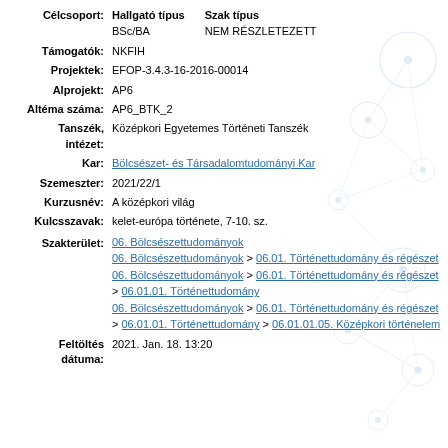Célcsoport: Hallgató típus BSc/BA | Szak típus NEM RÉSZLETEZETT
Támogatók: NKFIH
Projektek: EFOP-3.4.3-16-2016-00014
Alprojekt: AP6
Altéma száma: AP6_BTK_2
Tanszék, intézet: Középkori Egyetemes Történeti Tanszék
Kar: Bölcsészet- és Társadalomtudományi Kar
Szemeszter: 2021/22/1
Kurzusnév: A középkori világ
Kulcsszavak: kelet-európa története, 7-10. sz.
Szakterület: 06. Bölcsészettudományok | 06. Bölcsészettudományok > 06.01. Történettudomány és régészet | 06. Bölcsészettudományok > 06.01. Történettudomány és régészet > 06.01.01. Történettudomány | 06. Bölcsészettudományok > 06.01. Történettudomány és régészet > 06.01.01. Történettudomány > 06.01.01.05. Középkori történelem
Feltöltés dátuma: 2021. Jan. 18. 13:20